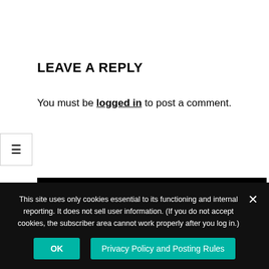LEAVE A REPLY
You must be logged in to post a comment.
SEARCH
[Figure (screenshot): Search input field with a dark search button icon on the right]
[Figure (screenshot): Gray bar partially visible at bottom of content area]
This site uses only cookies essential to its functioning and internal reporting. It does not sell user information. (If you do not accept cookies, the subscriber area cannot work properly after you log in.)
OK
Privacy Policy and Posting Rules